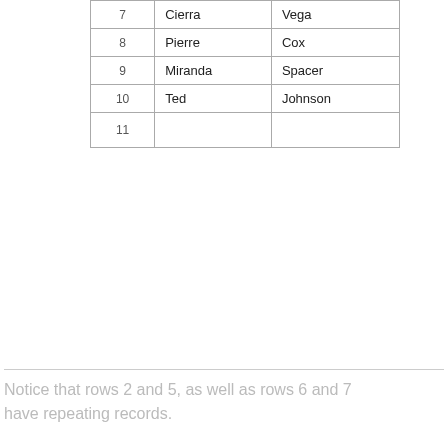| 7 | Cierra | Vega |
| 8 | Pierre | Cox |
| 9 | Miranda | Spacer |
| 10 | Ted | Johnson |
| 11 |  |  |
Notice that rows 2 and 5, as well as rows 6 and 7 have repeating records.